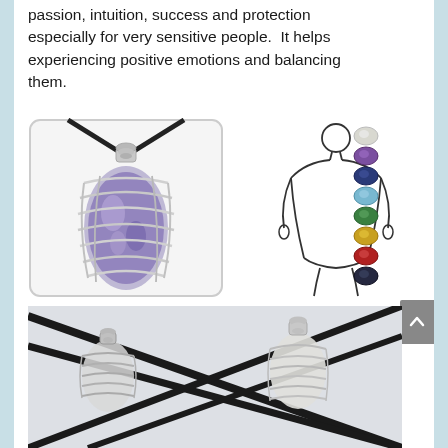passion, intuition, success and protection especially for very sensitive people.  It helps experiencing positive emotions and balancing them.
[Figure (photo): A blue/purple crystal stone wrapped in a spiral silver wire cage pendant on a black cord necklace, photographed against a white background with rounded-corner border.]
[Figure (illustration): A line-drawn human body silhouette showing seven chakra stones placed vertically along the body's centerline. From top to bottom: white/gray, purple, dark blue/navy, light blue, green, yellow, red, and dark/black stones — representing the seven chakras.]
[Figure (photo): Close-up photo of two silver wire spiral cage pendants on black cords/necklaces, shot against a light background with the cords crossing dramatically.]